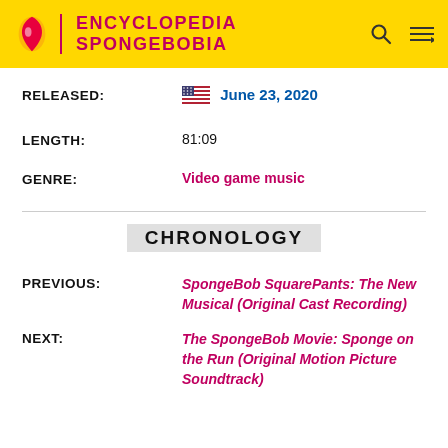ENCYCLOPEDIA SPONGEBOBIA
RELEASED: 🇺🇸 June 23, 2020
LENGTH: 81:09
GENRE: Video game music
CHRONOLOGY
PREVIOUS: SpongeBob SquarePants: The New Musical (Original Cast Recording)
NEXT: The SpongeBob Movie: Sponge on the Run (Original Motion Picture Soundtrack)